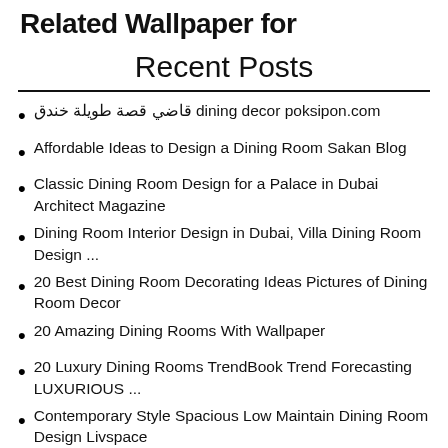Related Wallpaper for
Recent Posts
قاضي قصة طويلة خندق dining decor poksipon.com
Affordable Ideas to Design a Dining Room Sakan Blog
Classic Dining Room Design for a Palace in Dubai Architect Magazine
Dining Room Interior Design in Dubai, Villa Dining Room Design ...
20 Best Dining Room Decorating Ideas Pictures of Dining Room Decor
20 Amazing Dining Rooms With Wallpaper
20 Luxury Dining Rooms TrendBook Trend Forecasting LUXURIOUS ...
Contemporary Style Spacious Low Maintain Dining Room Design Livspace
Affordable Ideas to Design a Dining Room Sakan Bl...